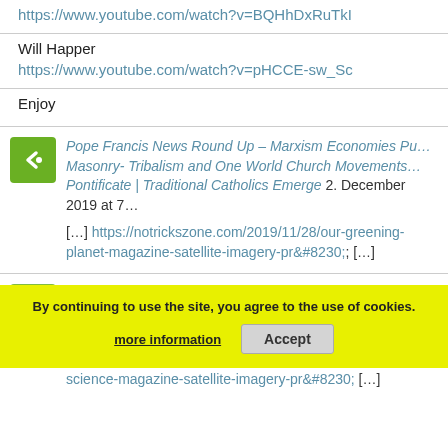https://www.youtube.com/watch?v=BQHhDxRuTkI
Will Happer
https://www.youtube.com/watch?v=pHCCE-sw_Sc
Enjoy
Pope Francis News Round Up – Marxism Economies Pu… Masonry- Tribalism and One World Church Movements … Pontificate | Traditional Catholics Emerge 2. December 2019 at 7…
[…] https://notrickszone.com/2019/11/28/our-greening-planet-magazine-satellite-imagery-pr&#8230; […]
Satelitní snímky dokazují že s tím, jak přibývá v ovzduší… čím dál… December 2019 at 10:2…
[…] Zdroj: https://notrickszone.com/2019/11/28/our-greening-science-magazine-satellite-imagery-pr&#8230; […]
By continuing to use the site, you agree to the use of cookies.
more information   Accept